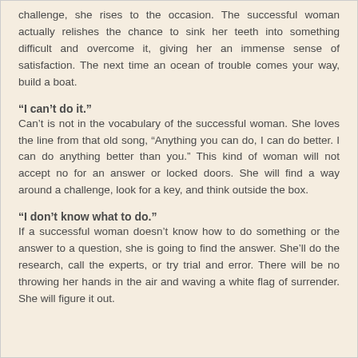challenge, she rises to the occasion. The successful woman actually relishes the chance to sink her teeth into something difficult and overcome it, giving her an immense sense of satisfaction. The next time an ocean of trouble comes your way, build a boat.
“I can’t do it.”
Can’t is not in the vocabulary of the successful woman. She loves the line from that old song, “Anything you can do, I can do better. I can do anything better than you.” This kind of woman will not accept no for an answer or locked doors. She will find a way around a challenge, look for a key, and think outside the box.
“I don’t know what to do.”
If a successful woman doesn’t know how to do something or the answer to a question, she is going to find the answer. She’ll do the research, call the experts, or try trial and error. There will be no throwing her hands in the air and waving a white flag of surrender. She will figure it out.